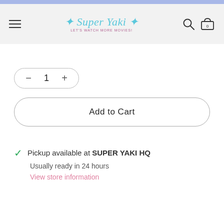Super Yaki - Let's Watch More Movies!
[Figure (screenshot): Quantity selector control with minus button, 1, and plus button inside a rounded pill-shaped border]
Add to Cart
Pickup available at SUPER YAKI HQ
Usually ready in 24 hours
View store information